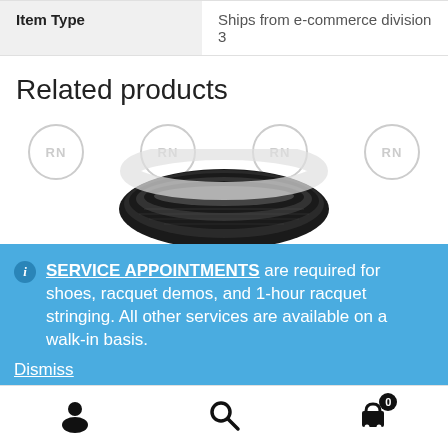| Item Type |  |
| --- | --- |
| Item Type | Ships from e-commerce division
3 |
Related products
[Figure (photo): Product image area showing a black tennis string coil with RN watermark circles]
SERVICE APPOINTMENTS are required for shoes, racquet demos, and 1-hour racquet stringing. All other services are available on a walk-in basis.
Dismiss